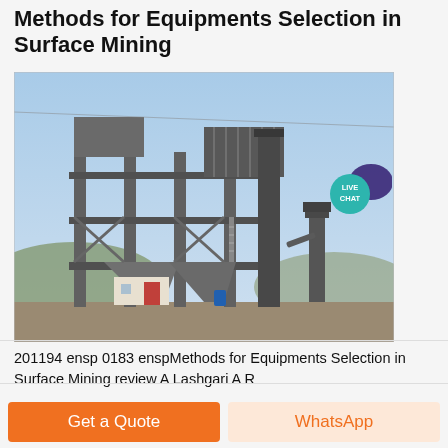Methods for Equipments Selection in Surface Mining
[Figure (photo): Industrial mining equipment facility — a large multi-story steel structure with conveyor belts, hoppers, dust collection units, and supporting framework, photographed outdoors against a blue sky with hills in background.]
201194 ensp 0183 enspMethods for Equipments Selection in Surface Mining review A Lashgari A R
Get a Quote
WhatsApp